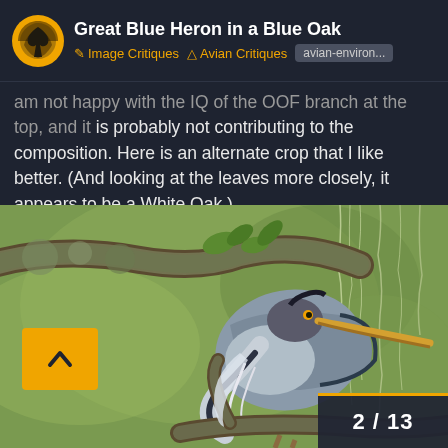Great Blue Heron in a Blue Oak | Image Critiques | Avian Critiques | avian-environ...
am not happy with the IQ of the OOF branch at the top, and it is probably not contributing to the composition. Here is an alternate crop that I like better. (And looking at the leaves more closely, it appears to be a White Oak.)
[Figure (photo): Photograph of a Great Blue Heron perched among lichen-covered oak branches with Spanish moss hanging down, soft green bokeh background. Navigation arrow button (^) visible at lower left. Image counter '2/13' at lower right.]